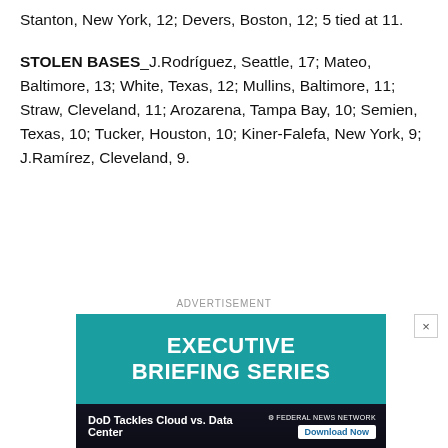Stanton, New York, 12; Devers, Boston, 12; 5 tied at 11.
STOLEN BASES_J.Rodríguez, Seattle, 17; Mateo, Baltimore, 13; White, Texas, 12; Mullins, Baltimore, 11; Straw, Cleveland, 11; Arozarena, Tampa Bay, 10; Semien, Texas, 10; Tucker, Houston, 10; Kiner-Falefa, New York, 9; J.Ramírez, Cleveland, 9.
[Figure (other): Advertisement banner for Federal News Network Executive Briefing Series with text 'DoD Tackles Cloud vs. Data Center' and a Download Now button]